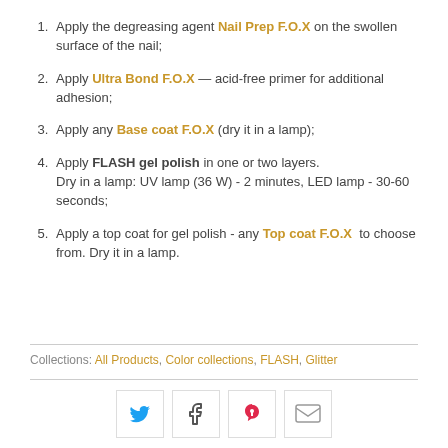Apply the degreasing agent Nail Prep F.O.X on the swollen surface of the nail;
Apply Ultra Bond F.O.X — acid-free primer for additional adhesion;
Apply any Base coat F.O.X (dry it in a lamp);
Apply FLASH gel polish in one or two layers. Dry in a lamp: UV lamp (36 W) - 2 minutes, LED lamp - 30-60 seconds;
Apply a top coat for gel polish - any Top coat F.O.X to choose from. Dry it in a lamp.
Collections: All Products, Color collections, FLASH, Glitter
[Figure (infographic): Social sharing buttons: Twitter (bird icon), Facebook (f icon), Pinterest (P icon), Email (envelope icon)]